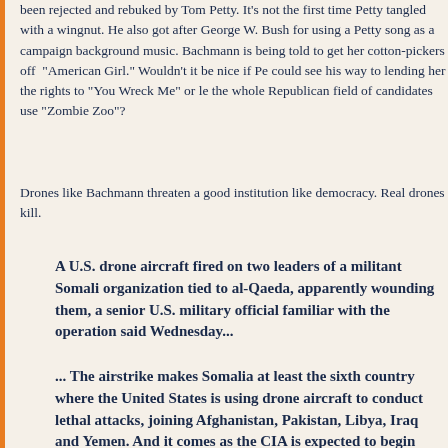been rejected and rebuked by Tom Petty. It's not the first time Petty tangled with a wingnut. He also got after George W. Bush for using a Petty song as a campaign background music. Bachmann is being told to get her cotton-pickers off "American Girl." Wouldn't it be nice if Petty could see his way to lending her the rights to "You Wreck Me" or let the whole Republican field of candidates use "Zombie Zoo"?
Drones like Bachmann threaten a good institution like democracy. Real drones kill.
A U.S. drone aircraft fired on two leaders of a militant Somali organization tied to al-Qaeda, apparently wounding them, a senior U.S. military official familiar with the operation said Wednesday...
... The airstrike makes Somalia at least the sixth country where the United States is using drone aircraft to conduct lethal attacks, joining Afghanistan, Pakistan, Libya, Iraq and Yemen. And it comes as the CIA is expected to begin flying